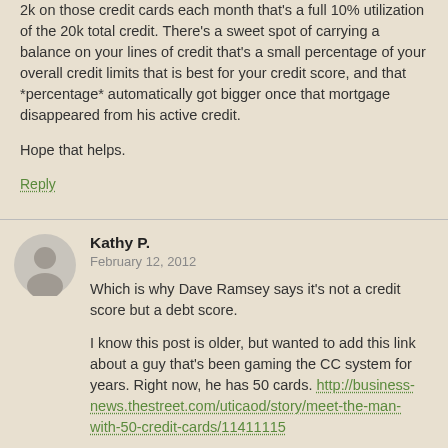2k on those credit cards each month that's a full 10% utilization of the 20k total credit. There's a sweet spot of carrying a balance on your lines of credit that's a small percentage of your overall credit limits that is best for your credit score, and that *percentage* automatically got bigger once that mortgage disappeared from his active credit.

Hope that helps.
Reply
Kathy P.
February 12, 2012
Which is why Dave Ramsey says it's not a credit score but a debt score.

I know this post is older, but wanted to add this link about a guy that's been gaming the CC system for years. Right now, he has 50 cards. http://business-news.thestreet.com/uticaod/story/meet-the-man-with-50-credit-cards/11411115
Reply